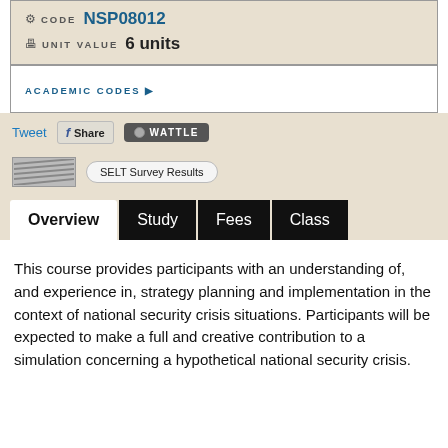CODE NSP08012
UNIT VALUE 6 units
ACADEMIC CODES ▶
Tweet
Share
WATTLE
SELT Survey Results
Overview  Study  Fees  Class
This course provides participants with an understanding of, and experience in, strategy planning and implementation in the context of national security crisis situations. Participants will be expected to make a full and creative contribution to a simulation concerning a hypothetical national security crisis.